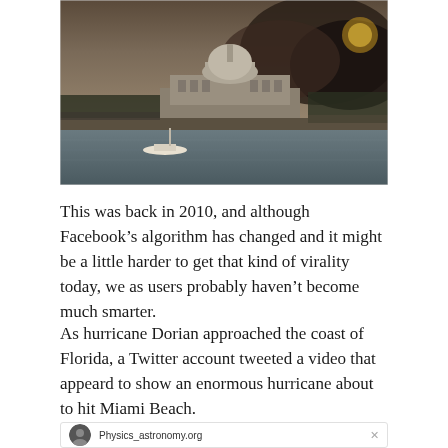[Figure (photo): Photograph of a waterfront scene with a domed building (resembling the Jefferson Memorial or US Capitol) in the background, dark smoky clouds in the sky, and a small boat on the water in the foreground.]
This was back in 2010, and although Facebook’s algorithm has changed and it might be a little harder to get that kind of virality today, we as users probably haven’t become much smarter.
As hurricane Dorian approached the coast of Florida, a Twitter account tweeted a video that appeard to show an enormous hurricane about to hit Miami Beach.
[Figure (screenshot): Partial screenshot of a tweet from the account Physics_astronomy.org]